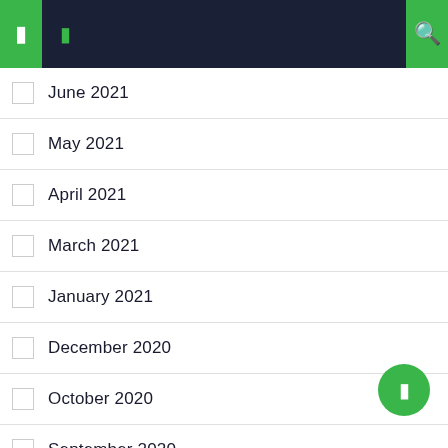Navigation header with menu icons
June 2021
May 2021
April 2021
March 2021
January 2021
December 2020
October 2020
September 2020
July 2020
June 2020